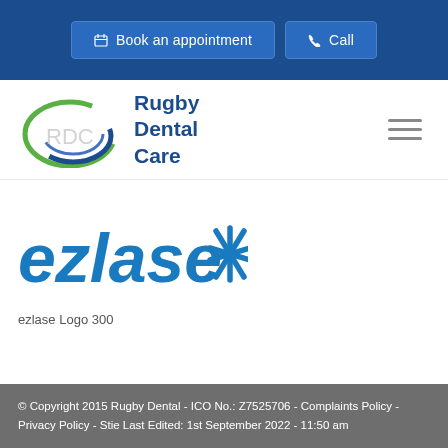[Figure (screenshot): Top navigation bar with blue background containing 'Book an appointment' and 'Call' buttons]
[Figure (logo): Rugby Dental Care logo with RDC circular emblem and text 'Rugby Dental Care']
[Figure (logo): ezlase logo in blue with asterisk/star symbol]
ezlase Logo 300
© Copyright 2015 Rugby Dental - ICO No.: Z7525706 - Complaints Policy - Privacy Policy - Stie Last Edited: 1st September 2022 - 11:50 am